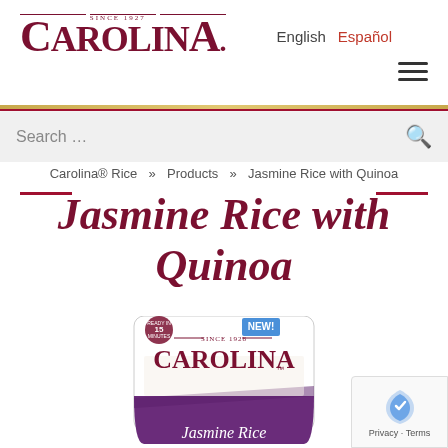Carolina® Rice — Since 1927 logo
English   Español
Search …
Carolina® Rice » Products » Jasmine Rice with Quinoa
Jasmine Rice with Quinoa
[Figure (photo): Carolina Jasmine Rice with Quinoa product bag — white bag with purple bottom, showing rice grains, SINCE 1928 Carolina brand logo, NEW! badge, READY IN 15 MINUTES badge, and 'Jasmine Rice' text at the bottom]